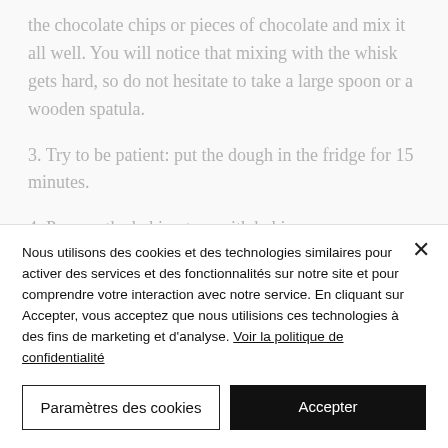the chocolate chips or pieces of chocolate and mix it all well. You will notice that mixing with the whisk gets hard, so do not hesitate to take a large spoon or a wooden spatula.
3. Try to be patient: put the dough in the fridge for 15 minutes.
4. Prepare the baking tray with baking
Nous utilisons des cookies et des technologies similaires pour activer des services et des fonctionnalités sur notre site et pour comprendre votre interaction avec notre service. En cliquant sur Accepter, vous acceptez que nous utilisions ces technologies à des fins de marketing et d'analyse. Voir la politique de confidentialité
Paramètres des cookies
Accepter